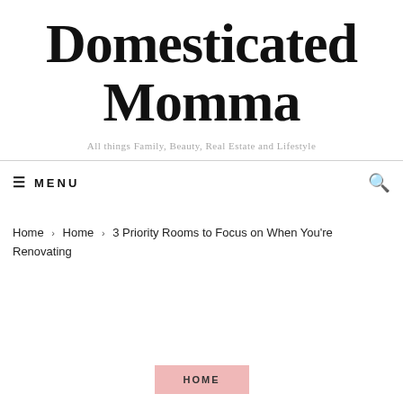Domesticated Momma
All things Family, Beauty, Real Estate and Lifestyle
≡ MENU
Home › Home › 3 Priority Rooms to Focus on When You're Renovating
HOME